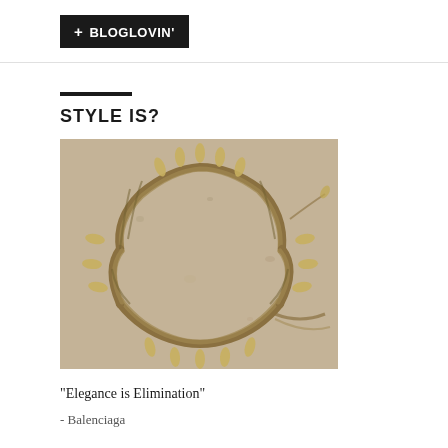+ BLOGLOVIN'
STYLE IS?
[Figure (photo): A wreath made of braided wheat stalks with grain heads arranged in a circle on a sandy/concrete surface, viewed from above.]
"Elegance is Elimination"
- Balenciaga